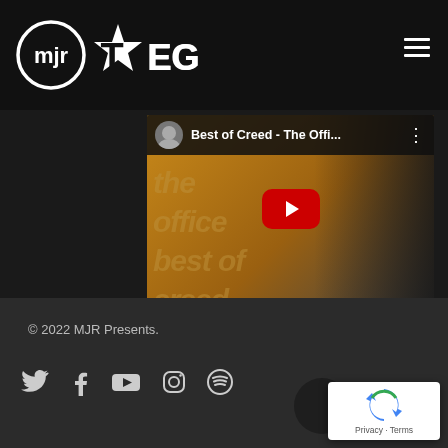[Figure (logo): MJR TEG logo — circular MJR badge and star-TEG wordmark in white on black header]
[Figure (screenshot): YouTube video thumbnail for 'Best of Creed - The Offi...' showing The Office title card on orange background merged with dark Joker-costumed figure, with red YouTube play button overlay]
© 2022 MJR Presents.
[Figure (infographic): Social media icons: Twitter, Facebook, YouTube, Instagram, Spotify in white on dark footer]
[Figure (logo): Google reCAPTCHA badge with Privacy and Terms text]